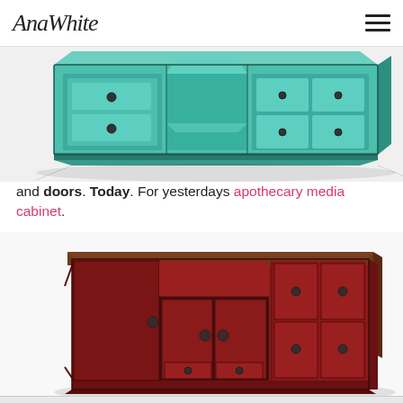AnaWhite
[Figure (illustration): 3D rendering of a teal/green apothecary media cabinet with multiple drawers shown from an angled top view, partially cropped]
and doors. Today. For yesterdays apothecary media cabinet.
[Figure (illustration): 3D rendering of a dark red/maroon apothecary media cabinet with open doors revealing interior drawers, shown from a front-angled perspective]